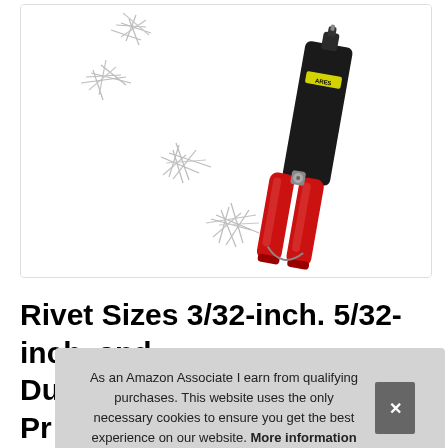[Figure (photo): Product photo of a rivet gun tool with red handles and black body (ARES brand), surrounded by scattered metallic rivets of various sizes on a white background.]
Rivet Sizes 3/32-inch. 5/32-inch. and Du... Pro... Ri...
As an Amazon Associate I earn from qualifying purchases. This website uses the only necessary cookies to ensure you get the best experience on our website. More information